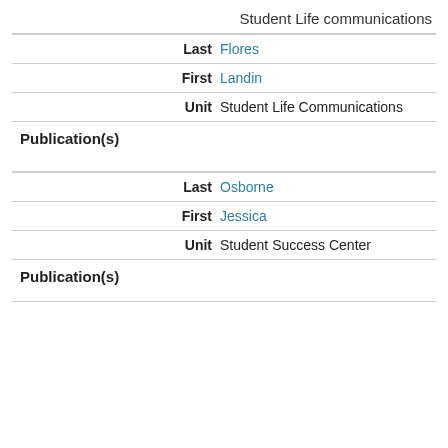Student Life communications
| Field | Value |
| --- | --- |
| Last | Flores |
| First | Landin |
| Unit | Student Life Communications |
Publication(s)
| Field | Value |
| --- | --- |
| Last | Osborne |
| First | Jessica |
| Unit | Student Success Center |
Publication(s)